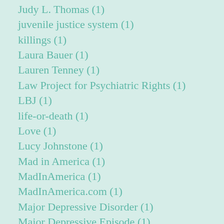Judy L. Thomas (1)
juvenile justice system (1)
killings (1)
Laura Bauer (1)
Lauren Tenney (1)
Law Project for Psychiatric Rights (1)
LBJ (1)
life-or-death (1)
Love (1)
Lucy Johnstone (1)
Mad in America (1)
MadInAmerica (1)
MadInAmerica.com (1)
Major Depressive Disorder (1)
Major Depressive Episode (1)
Marsha Norman (1)
Mary Landrieu (1)
mary vieten (1)